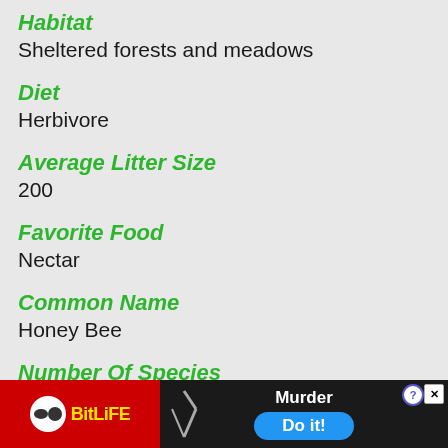Habitat
Sheltered forests and meadows
Diet
Herbivore
Average Litter Size
200
Favorite Food
Nectar
Common Name
Honey Bee
Number Of Species
8
Location
Worldwide
Slogan
There
[Figure (screenshot): BitLife app advertisement banner with red background, yellow BitLife logo, knife graphic, and blue 'Do it!' button with 'Murder' text]